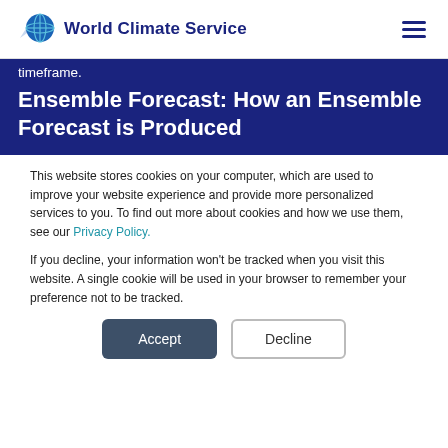World Climate Service
timeframe.
Ensemble Forecast: How an Ensemble Forecast is Produced
This website stores cookies on your computer, which are used to improve your website experience and provide more personalized services to you. To find out more about cookies and how we use them, see our Privacy Policy.
If you decline, your information won't be tracked when you visit this website. A single cookie will be used in your browser to remember your preference not to be tracked.